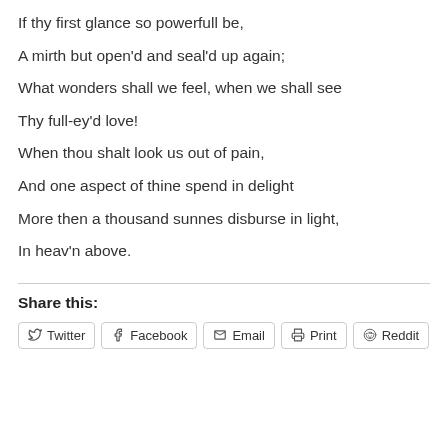If thy first glance so powerfull be,
A mirth but open'd and seal'd up again;
What wonders shall we feel, when we shall see
Thy full-ey'd love!
When thou shalt look us out of pain,
And one aspect of thine spend in delight
More then a thousand sunnes disburse in light,
In heav'n above.
Share this:
Twitter | Facebook | Email | Print | Reddit